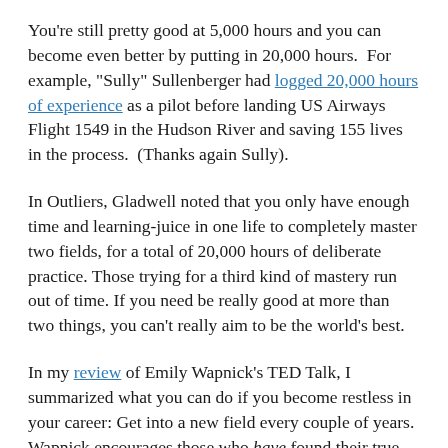You're still pretty good at 5,000 hours and you can become even better by putting in 20,000 hours.  For example, "Sully" Sullenberger had logged 20,000 hours of experience as a pilot before landing US Airways Flight 1549 in the Hudson River and saving 155 lives in the process.  (Thanks again Sully).
In Outliers, Gladwell noted that you only have enough time and learning-juice in one life to completely master two fields, for a total of 20,000 hours of deliberate practice. Those trying for a third kind of mastery run out of time. If you need be really good at more than two things, you can't really aim to be the world's best.
In my review of Emily Wapnick's TED Talk, I summarized what you can do if you become restless in your career: Get into a new field every couple of years. Wapnick encourages those who have found their true calling to pursue that one thing. But for those who just can't stay in one lane, there